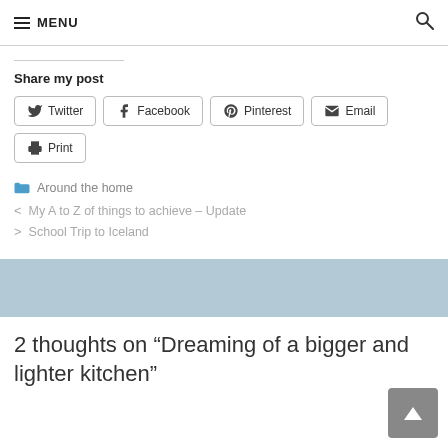≡ MENU
Share my post
Twitter | Facebook | Pinterest | Email | Print
Around the home
< My A to Z of things to achieve – Update
> School Trip to Iceland
2 thoughts on “Dreaming of a bigger and lighter kitchen”